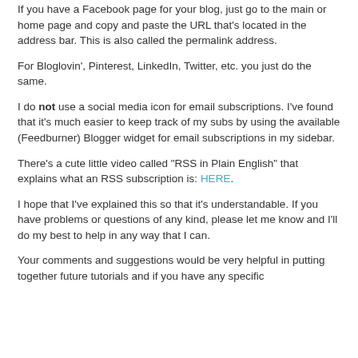If you have a Facebook page for your blog, just go to the main or home page and copy and paste the URL that's located in the address bar. This is also called the permalink address.
For Bloglovin', Pinterest, LinkedIn, Twitter, etc. you just do the same.
I do not use a social media icon for email subscriptions. I've found that it's much easier to keep track of my subs by using the available (Feedburner) Blogger widget for email subscriptions in my sidebar.
There's a cute little video called "RSS in Plain English" that explains what an RSS subscription is: HERE.
I hope that I've explained this so that it's understandable. If you have problems or questions of any kind, please let me know and I'll do my best to help in any way that I can.
Your comments and suggestions would be very helpful in putting together future tutorials and if you have any specific